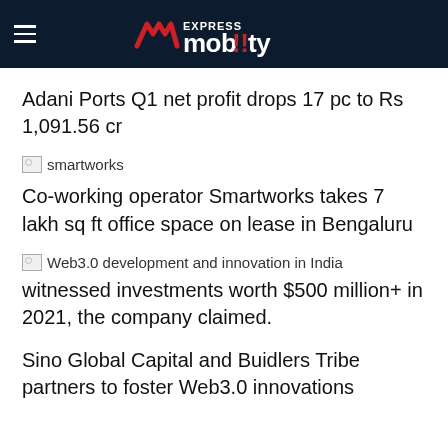Express Mobility
Adani Ports Q1 net profit drops 17 pc to Rs 1,091.56 cr
[Figure (photo): Broken image placeholder labeled 'smartworks']
Co-working operator Smartworks takes 7 lakh sq ft office space on lease in Bengaluru
[Figure (photo): Broken image placeholder for Web3.0 article]
Web3.0 development and innovation in India witnessed investments worth $500 million+ in 2021, the company claimed.
Sino Global Capital and Buidlers Tribe partners to foster Web3.0 innovations